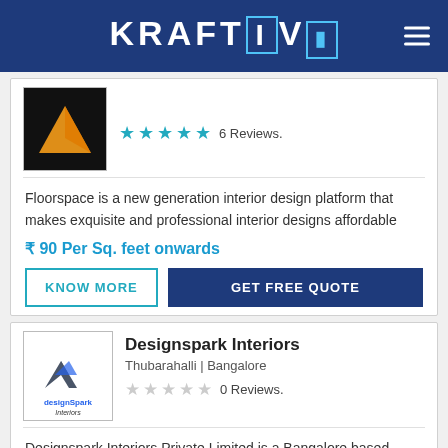KRAFTIVO
[Figure (logo): Floorspace company logo - orange/yellow shape on black background]
6 Reviews.
Floorspace is a new generation interior design platform that makes exquisite and professional interior designs affordable
₹ 90 Per Sq. feet onwards
KNOW MORE
GET FREE QUOTE
[Figure (logo): Designspark Interiors logo - angular arrow shapes in blue/grey with text designSpark Interiors]
Designspark Interiors
Thubarahalli | Bangalore
0 Reviews.
Designspark Interiors Private Limited is a Bangalore based company, which is running in an Active state was registered in